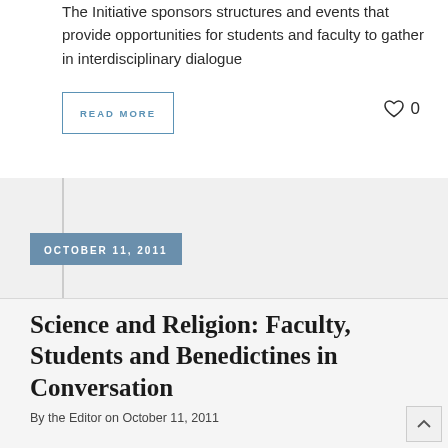The Initiative sponsors structures and events that provide opportunities for students and faculty to gather in interdisciplinary dialogue
READ MORE
0
OCTOBER 11, 2011
Science and Religion: Faculty, Students and Benedictines in Conversation
By the Editor on October 11, 2011